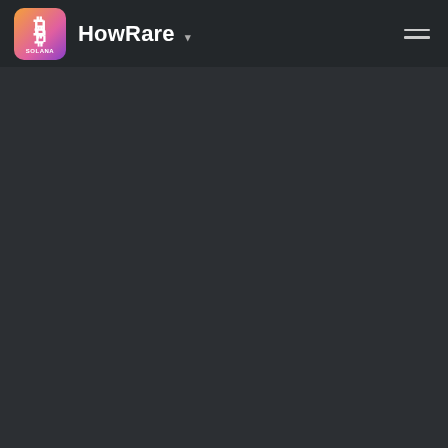HowRare
[Figure (screenshot): Dark background main content area, empty loading state]